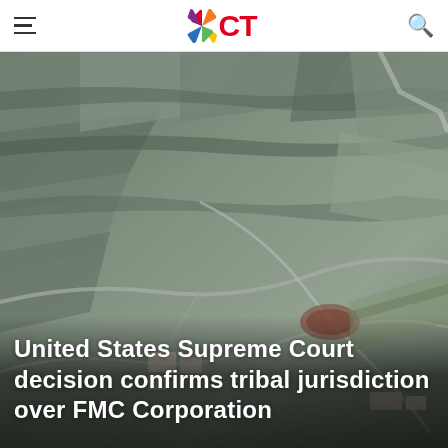ICT (Indian Country Today)
[Figure (photo): Aerial photograph of an open-pit mine / industrial facility, showing terraced earth excavations, access roads, industrial buildings and surrounding terrain.]
United States Supreme Court decision confirms tribal jurisdiction over FMC Corporation